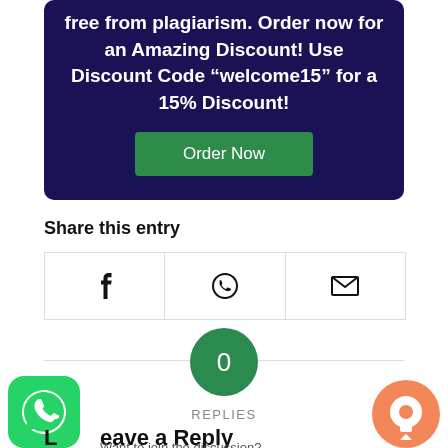free from plagiarism. Order now for an Amazing Discount! Use Discount Code “welcome15” for a 15% Discount!
Order Now
Share this entry
[Figure (infographic): Three share icon cells in a row: Facebook (f), WhatsApp (circle with phone), and Email (envelope)]
0
REPLIES
Leave a Reply
Want to join the discussion?